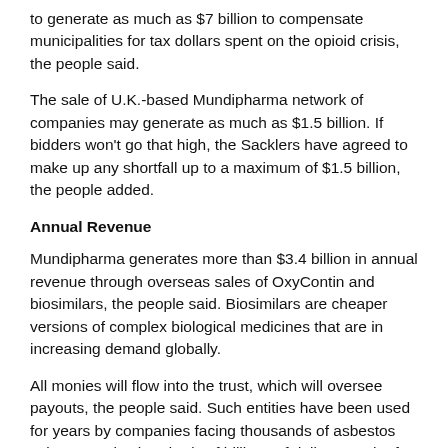to generate as much as $7 billion to compensate municipalities for tax dollars spent on the opioid crisis, the people said.
The sale of U.K.-based Mundipharma network of companies may generate as much as $1.5 billion. If bidders won't go that high, the Sacklers have agreed to make up any shortfall up to a maximum of $1.5 billion, the people added.
Annual Revenue
Mundipharma generates more than $3.4 billion in annual revenue through overseas sales of OxyContin and biosimilars, the people said. Biosimilars are cheaper versions of complex biological medicines that are in increasing demand globally.
All monies will flow into the trust, which will oversee payouts, the people said. Such entities have been used for years by companies facing thousands of asbestos suits to resolve hundreds of billions of dollars-worth of litigation. Big-name corporations such as Halliburton Co. and W.R. Grace & Co. have set up trusts, which are separate from the companies, to settle suits accusing their asbestos-laden products of causing cancer.